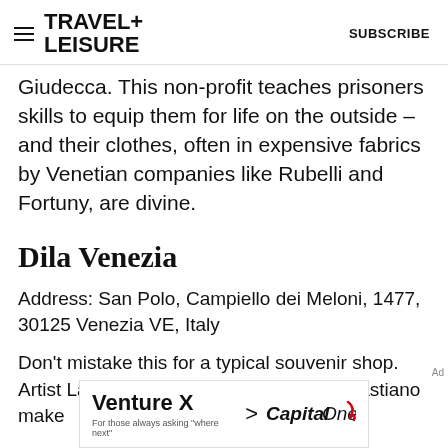TRAVEL+ LEISURE | SUBSCRIBE
Giudecca. This non-profit teaches prisoners skills to equip them for life on the outside – and their clothes, often in expensive fabrics by Venetian companies like Rubelli and Fortuny, are divine.
Dila Venezia
Address: San Polo, Campiello dei Meloni, 1477, 30125 Venezia VE, Italy
Don't mistake this for a typical souvenir shop. Artist Laura Bollato and her nephew Sebastiano make
[Figure (other): Capital One Venture X advertisement banner with text 'Venture X > Capital One' and tagline 'For those always asking where next']